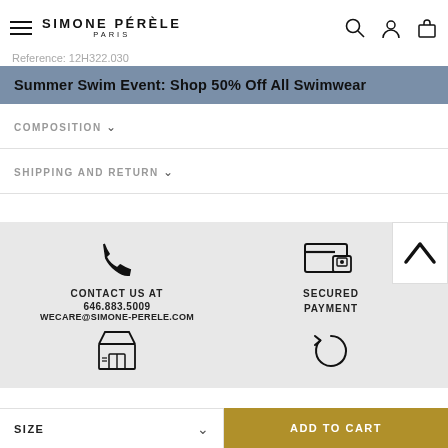SIMONE PÉRÈLE PARIS
Reference: 12H322.030
Summer Swim Event: Shop 50% Off All Swimwear
COMPOSITION ∨
SHIPPING AND RETURN ∨
[Figure (infographic): Footer info section with phone icon, secured payment icon, store icon, and return icon]
CONTACT US AT
646.883.5009
WECARE@SIMONE-PERELE.COM
SECURED PAYMENT
SIZE ∨
ADD TO CART